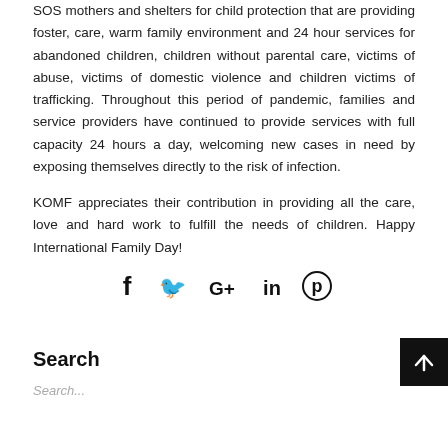SOS mothers and shelters for child protection that are providing foster, care, warm family environment and 24 hour services for abandoned children, children without parental care, victims of abuse, victims of domestic violence and children victims of trafficking. Throughout this period of pandemic, families and service providers have continued to provide services with full capacity 24 hours a day, welcoming new cases in need by exposing themselves directly to the risk of infection.
KOMF appreciates their contribution in providing all the care, love and hard work to fulfill the needs of children. Happy International Family Day!
[Figure (infographic): Social media share icons: Facebook (f), Twitter bird, Google+ (G+), LinkedIn (in), Pinterest (P circle)]
Search
Search...